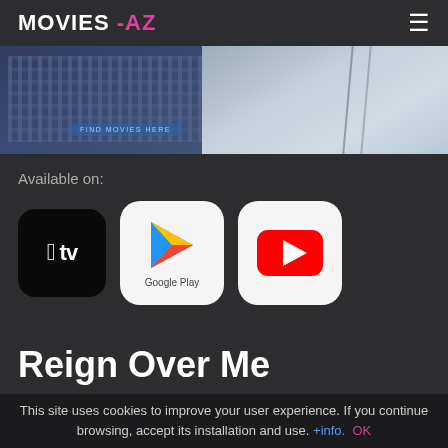MOVIES -AZ
[Figure (photo): A banner image showing a crowd scene on the left and a baseball jersey on the right, partially visible.]
Available on:
[Figure (logo): Apple TV app icon - black rounded square with Apple logo and 'tv' text]
[Figure (logo): Google Play app icon - white rounded square with colorful triangular Play logo and 'Google Play' text]
[Figure (logo): YouTube app icon - white rounded square with red rectangle and white play triangle]
Reign Over Me
This site uses cookies to improve your user experience. If you continue browsing, accept its installation and use. +info. OK